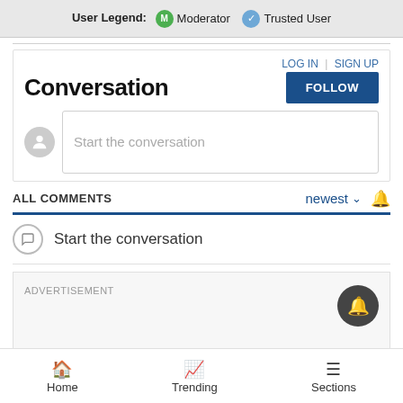[Figure (infographic): User Legend bar showing Moderator (green M badge) and Trusted User (blue checkmark badge) icons with labels]
LOG IN | SIGN UP
Conversation
[Figure (other): FOLLOW button in dark blue]
[Figure (other): Start the conversation input field with avatar placeholder]
ALL COMMENTS
newest ▾ 🔔
Start the conversation
ADVERTISEMENT
Home   Trending   Sections